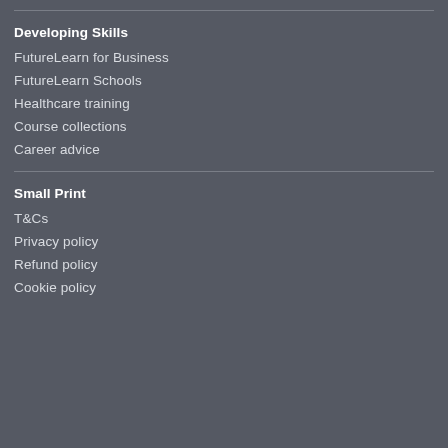Developing Skills
FutureLearn for Business
FutureLearn Schools
Healthcare training
Course collections
Career advice
Small Print
T&Cs
Privacy policy
Refund policy
Cookie policy